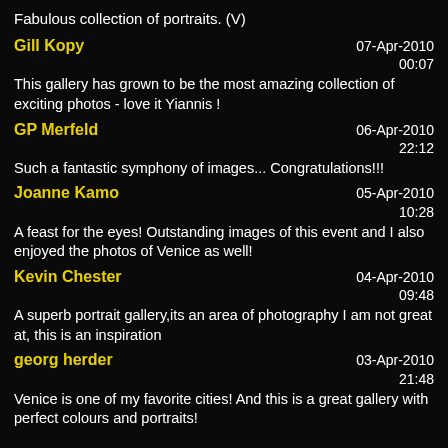Fabulous collection of portraits. (V)
Gill Kopy
07-Apr-2010 00:07
This gallery has grown to be the most amazing collection of exciting photos - love it Yiannis !
GP Merfeld
06-Apr-2010 22:12
Such a fantastic symphony of images... Congratulations!!!
Joanne Kamo
05-Apr-2010 10:28
A feast for the eyes! Outstanding images of this event and I also enjoyed the photos of Venice as well!
Kevin Chester
04-Apr-2010 09:48
A superb portrait gallery,its an area of photography I am not great at, this is an inspiration
georg herder
03-Apr-2010 21:48
Venice is one of my favorite cities! And this is a great gallery with perfect colours and portraits!

Wbr / George
Chun Lo
03-Apr-2010 15:03